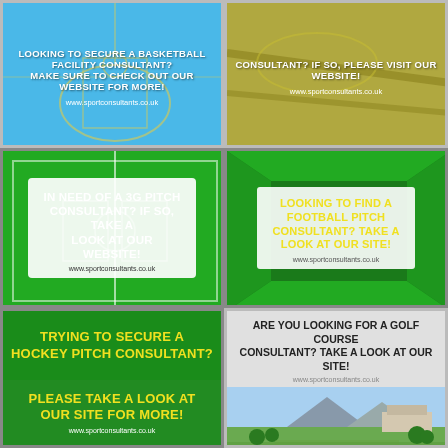[Figure (infographic): Blue basketball court aerial view with white text overlay: LOOKING TO SECURE A BASKETBALL FACILITY CONSULTANT? MAKE SURE TO CHECK OUT OUR WEBSITE FOR MORE! www.sportconsultants.co.uk]
[Figure (infographic): Aerial green/yellow field view with white text overlay: CONSULTANT? IF SO, PLEASE VISIT OUR WEBSITE! www.sportconsultants.co.uk]
[Figure (infographic): Green football pitch background with white inner box containing white text: IN NEED OF A 3G PITCH CONSULTANT? IF SO, TAKE A LOOK AT OUR WEBSITE! www.sportconsultants.co.uk]
[Figure (infographic): Dark green background with white border box containing yellow text: LOOKING TO FIND A FOOTBALL PITCH CONSULTANT? TAKE A LOOK AT OUR SITE! www.sportconsultants.co.uk]
[Figure (infographic): Green background split: top section yellow text TRYING TO SECURE A HOCKEY PITCH CONSULTANT?, bottom section yellow text PLEASE TAKE A LOOK AT OUR SITE FOR MORE! www.sportconsultants.co.uk]
[Figure (infographic): Light background with golf course photo. Black text: ARE YOU LOOKING FOR A GOLF COURSE CONSULTANT? TAKE A LOOK AT OUR SITE! www.sportconsultants.co.uk]